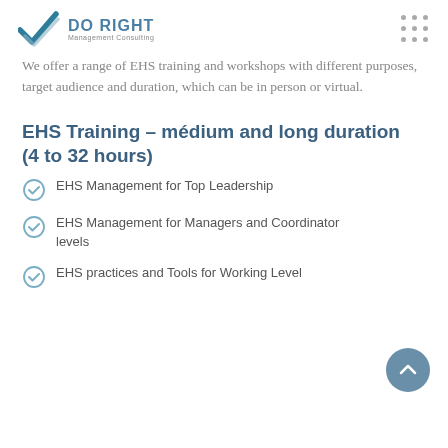DO RIGHT Management Consulting
We offer a range of EHS training and workshops with different purposes, target audience and duration, which can be in person or virtual.
EHS Training – médium and long duration (4 to 32 hours)
EHS Management for Top Leadership
EHS Management for Managers and Coordinator levels
EHS practices and Tools for Working Level